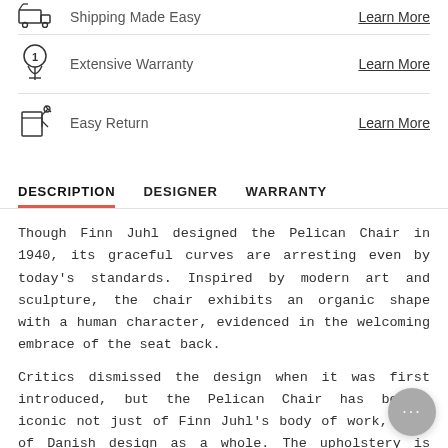Shipping Made Easy — Learn More
Extensive Warranty — Learn More
Easy Return — Learn More
DESCRIPTION   DESIGNER   WARRANTY
Though Finn Juhl designed the Pelican Chair in 1940, its graceful curves are arresting even by today's standards. Inspired by modern art and sculpture, the chair exhibits an organic shape with a human character, evidenced in the welcoming embrace of the seat back.
Critics dismissed the design when it was first introduced, but the Pelican Chair has become iconic not just of Finn Juhl's body of work, also of Danish design as a whole. The upholstery is hand-sewn to the frame and comes available in a variety of fabrics ranging